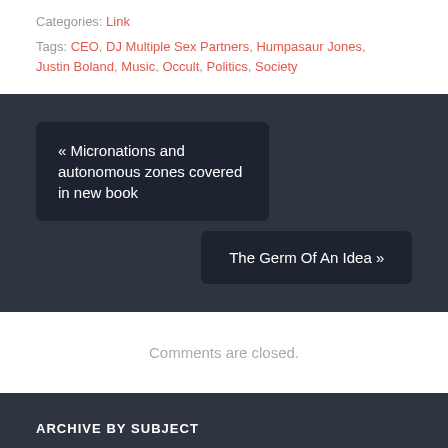Categories: Link
Tags: CEO, DJ Multiple Sex Partners, Humpasaur Jones, Justin Boland, Music, Occult, Politics, Society
« Micronations and autonomous zones covered in new book
The Germ Of An Idea »
Comments are closed.
ARCHIVE BY SUBJECT
Audio Interviews